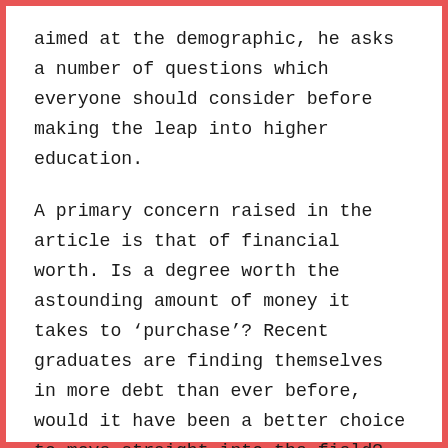aimed at the demographic, he asks a number of questions which everyone should consider before making the leap into higher education.
A primary concern raised in the article is that of financial worth. Is a degree worth the astounding amount of money it takes to 'purchase'? Recent graduates are finding themselves in more debt than ever before, would it have been a better choice to move straight into the field? Could the experience gained in the four (plus) years spent at school prove to be